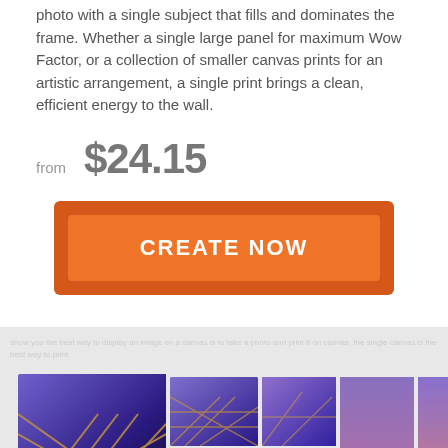photo with a single subject that fills and dominates the frame. Whether a single large panel for maximum Wow Factor, or a collection of smaller canvas prints for an artistic arrangement, a single print brings a clean, efficient energy to the wall.
from $24.15
[Figure (other): Orange CREATE NOW button with darker orange border/background]
[Figure (photo): Section with light grey background showing bridge photos in canvas print arrangement (single large panel plus multiple smaller panels in various sizes), and a red Support Chat - Live bar at the bottom right]